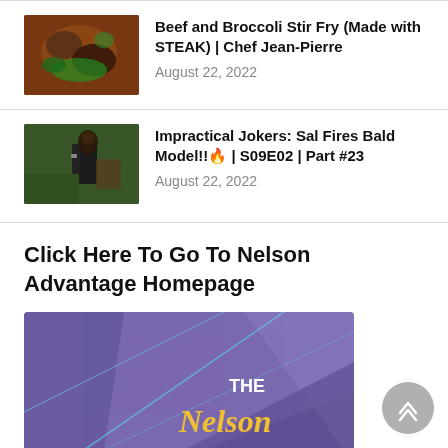[Figure (photo): Thumbnail image of beef and broccoli stir fry dish]
Beef and Broccoli Stir Fry (Made with STEAK) | Chef Jean-Pierre
August 22, 2022
[Figure (photo): Thumbnail image of person outdoors, Impractical Jokers episode]
Impractical Jokers: Sal Fires Bald Model!!🔥 | S09E02 | Part #23
August 22, 2022
Click Here To Go To Nelson Advantage Homepage
[Figure (illustration): Purple/violet banner graphic with geometric lines and 'The Nelson' text in yellow cursive script]